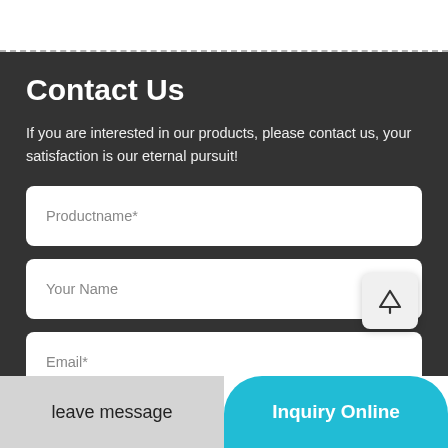Contact Us
If you are interested in our products, please contact us, your satisfaction is our eternal pursuit!
Productname*
Your Name
Email*
leave message
Inquiry Online